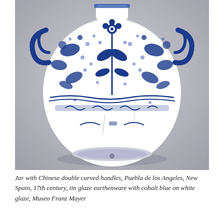[Figure (photo): A large ceramic jar with Chinese double curved handles, decorated with cobalt blue floral and leaf patterns on a white tin glaze earthenware body. The jar has an rounded bulbous shape with ornate blue-and-white decoration featuring flowers, foliage, and scrolling patterns across its surface. The background of the photograph is a neutral grey gradient.]
Jar with Chinese double curved handles, Puebla de los Angeles, New Spain, 17th century, tin glaze earthenware with cobalt blue on white glaze, Museo Franz Mayer